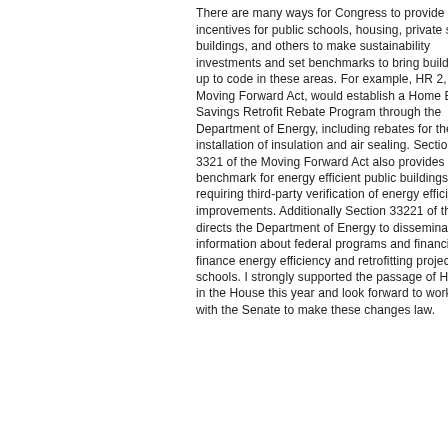There are many ways for Congress to provide incentives for public schools, housing, private sector buildings, and others to make sustainability investments and set benchmarks to bring buildings up to code in these areas. For example, HR 2, the Moving Forward Act, would establish a Home Energy Savings Retrofit Rebate Program through the Department of Energy, including rebates for the installation of insulation and air sealing. Section 3321 of the Moving Forward Act also provides a benchmark for energy efficient public buildings, requiring third-party verification of energy efficiency improvements. Additionally Section 33221 of the bill directs the Department of Energy to disseminate information about federal programs and financing to finance energy efficiency and retrofitting projects at schools. I strongly supported the passage of H.R. 2 in the House this year and look forward to working with the Senate to make these changes law.